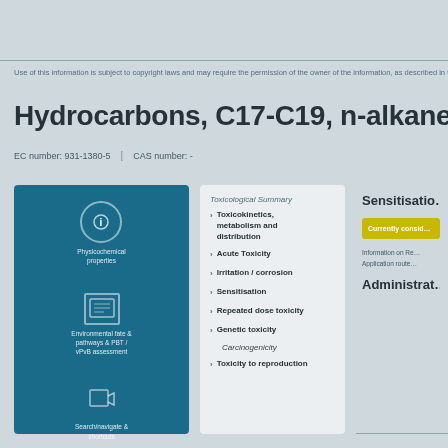Use of this information is subject to copyright laws and may require the permission...
Hydrocarbons, C17-C19, n-alkanes, <2% ...
EC number: 931-1380-5   CAS number: -
[Figure (infographic): Blue information panel with icons for physicochemical properties, environmental fate and behavior, and search/navigate]
Toxicological Summary
Toxicokinetics, metabolism and distribution
Acute Toxicity
Irritation / corrosion
Sensitisation
Repeated dose toxicity
Genetic toxicity
Carcinogenicity
Toxicity to reproduction
Sensitisatio...
Currently consid...
Information on Re...
Application route...
Administrat...